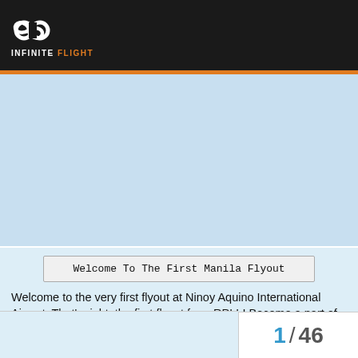INFINITE FLIGHT
[Figure (screenshot): Map view area showing light blue background, likely a flight map for Manila/RPLL area with an expand icon in bottom right corner]
Welcome To The First Manila Flyout
Welcome to the very first flyout at Ninoy Aquino International Airport. That's right, the first flyout from RPLL! Become a part of Infinite Flight history as we flyout from the Pearl Of The Orient to destinations across the world.
Manila Airport Information
NOTAMs   1 / 46